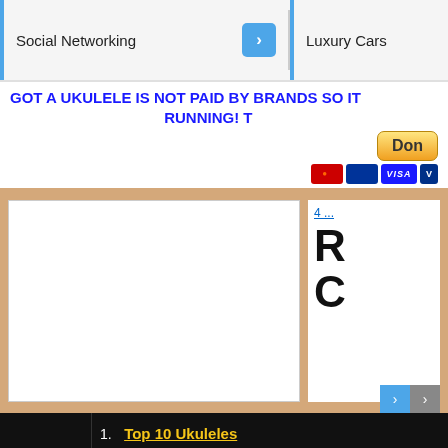Social Networking | Luxury Cars
GOT A UKULELE IS NOT PAID BY BRANDS SO IT RUNNING!
[Figure (screenshot): PayPal donation button with credit card icons (MasterCard, Maestro, VISA)]
[Figure (screenshot): White content card placeholder in tan/beige section]
[Figure (screenshot): Side card with link '4 ...' and large bold letters R and C]
1. Top 10 Ukuleles
2. Ukuleles for Sale
Search for